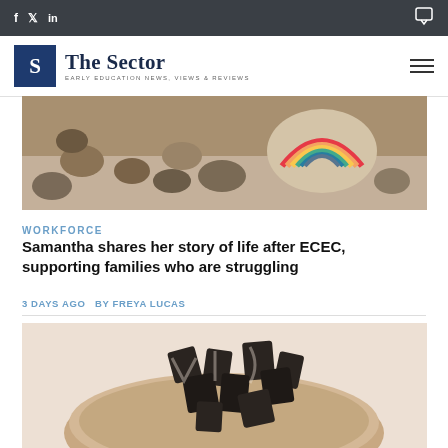f  y  in  [chat icon]
[Figure (logo): The Sector logo with 'S' in navy box, text 'The Sector' and subtitle 'EARLY EDUCATION NEWS, VIEWS & REVIEWS']
[Figure (photo): Colorful painted rainbow stones on sandy/earthy background]
WORKFORCE
Samantha shares her story of life after ECEC, supporting families who are struggling
3 DAYS AGO  BY FREYA LUCAS
[Figure (photo): Close-up of dark wooden letter/number shapes in a wooden bowl on a light surface]